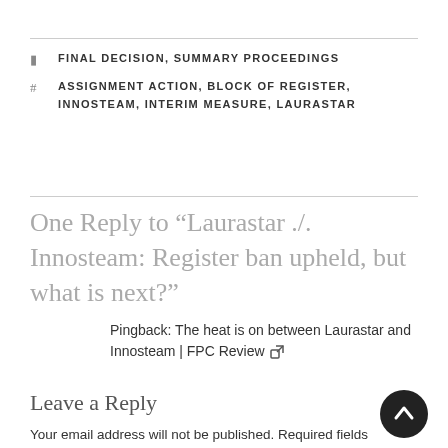FINAL DECISION, SUMMARY PROCEEDINGS
ASSIGNMENT ACTION, BLOCK OF REGISTER, INNOSTEAM, INTERIM MEASURE, LAURASTAR
One Reply to “Laurastar ./. Innosteam: Register ban upheld, but what is next?”
Pingback: The heat is on between Laurastar and Innosteam | FPC Review ⇗
Leave a Reply
Your email address will not be published. Required fields are marked *